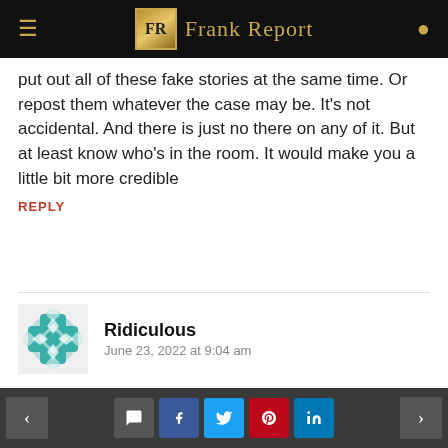Frank Report
put out all of these fake stories at the same time. Or repost them whatever the case may be. It's not accidental. And there is just no there on any of it. But at least know who's in the room. It would make you a little bit more credible
REPLY
Ridiculous
June 23, 2022 at 9:04 am
That does not sound like a rough interview. In fact it sounds like they went out of their way to reassure Samantha and try to make her
< > social share buttons